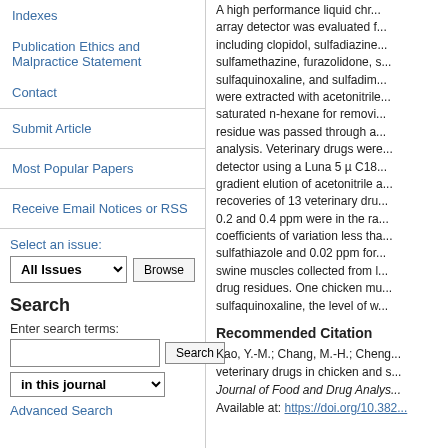Indexes
Publication Ethics and Malpractice Statement
Contact
Submit Article
Most Popular Papers
Receive Email Notices or RSS
Select an issue:
All Issues  Browse
Search
Enter search terms:
in this journal
Advanced Search
A high performance liquid chr... array detector was evaluated f... including clopidol, sulfadiazine... sulfamethazine, furazolidone, s... sulfaquinoxaline, and sulfadim... were extracted with acetonitrile... saturated n-hexane for removi... residue was passed through a... analysis. Veterinary drugs were... detector using a Luna 5 µ C18... gradient elution of acetonitrile a... recoveries of 13 veterinary dru... 0.2 and 0.4 ppm were in the ra... coefficients of variation less tha... sulfathiazole and 0.02 ppm for... swine muscles collected from l... drug residues. One chicken mu... sulfaquinoxaline, the level of w...
Recommended Citation
Kao, Y.-M.; Chang, M.-H.; Cheng... veterinary drugs in chicken and s... Journal of Food and Drug Analys... Available at: https://doi.org/10.382...